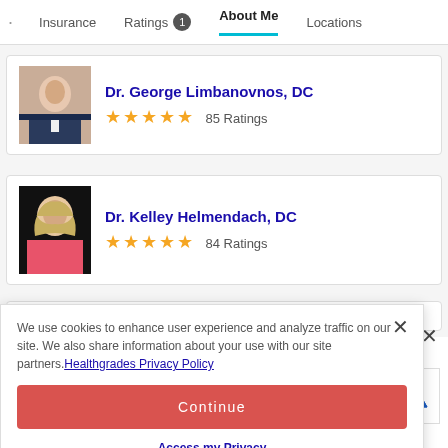Insurance  Ratings 1  About Me  Locations
Dr. George Limbanovnos, DC — 85 Ratings
Dr. Kelley Helmendach, DC — 84 Ratings
We use cookies to enhance user experience and analyze traffic on our site. We also share information about your use with our site partners. Healthgrades Privacy Policy
Continue
Access my Privacy Preferences